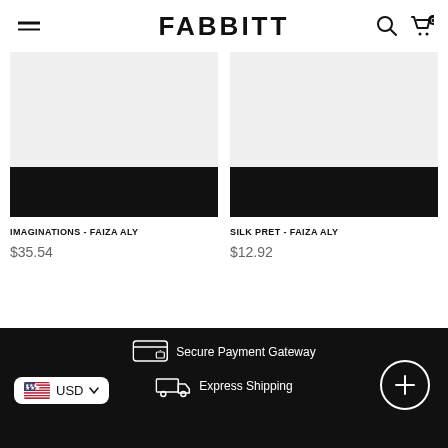FABBITT
[Figure (screenshot): Product card: IMAGINATIONS - FAIZA ALY, light gray image area with black bottom strip]
IMAGINATIONS - FAIZA ALY
$35.54
[Figure (screenshot): Product card: SILK PRET - FAIZA ALY, light gray image area with black bottom strip]
SILK PRET - FAIZA ALY
$12.92
Secure Payment Gateway
Express Shipping
USD